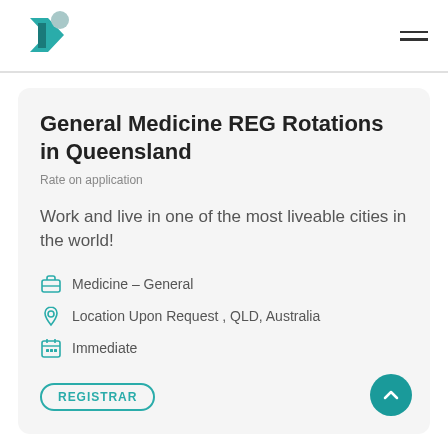[Figure (logo): Teal and grey chevron/arrow logo icon in top left]
General Medicine REG Rotations in Queensland
Rate on application
Work and live in one of the most liveable cities in the world!
Medicine – General
Location Upon Request , QLD, Australia
Immediate
REGISTRAR